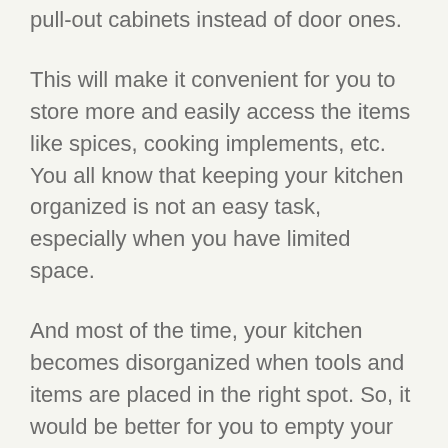pull-out cabinets instead of door ones.
This will make it convenient for you to store more and easily access the items like spices, cooking implements, etc. You all know that keeping your kitchen organized is not an easy task, especially when you have limited space.
And most of the time, your kitchen becomes disorganized when tools and items are placed in the right spot. So, it would be better for you to empty your kitchen cabinets and decide which items you want to keep and which ones you don't.
It will help organize your kitchen and help you remove unnecessary things that you don't need. In addition, this will clear up some space